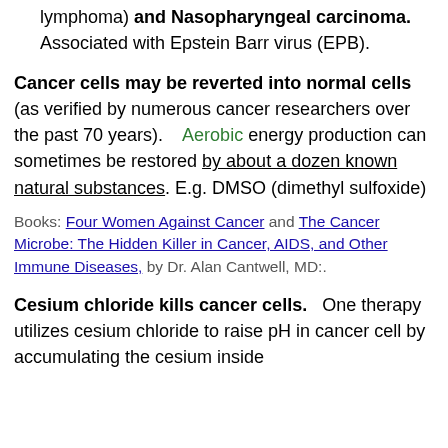lymphoma) and Nasopharyngeal carcinoma. Associated with Epstein Barr virus (EPB).
Cancer cells may be reverted into normal cells (as verified by numerous cancer researchers over the past 70 years). Aerobic energy production can sometimes be restored by about a dozen known natural substances. E.g. DMSO (dimethyl sulfoxide)
Books: Four Women Against Cancer and The Cancer Microbe: The Hidden Killer in Cancer, AIDS, and Other Immune Diseases, by Dr. Alan Cantwell, MD:.
Cesium chloride kills cancer cells. One therapy utilizes cesium chloride to raise pH in cancer cell by accumulating the cesium inside